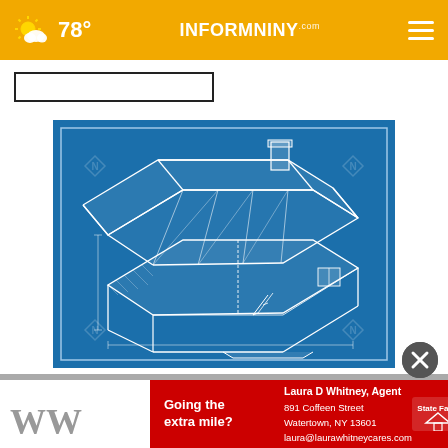☁ 78° | INFORMNNY.com
[Figure (schematic): Blueprint-style isometric cross-section diagram of a two-story house showing structural framing, roof trusses, interior rooms, stairs, chimney, and dimensions, white line art on blue background with watermark logos in corners]
[Figure (other): Close (X) button overlay, dark gray circle with white X]
WW
[Figure (infographic): State Farm advertisement banner: 'Going the extra mile?' with agent Laura D Whitney, 891 Coffeen Street, Watertown, NY 13601, laura@laurawhitneycares.com, State Farm logo]